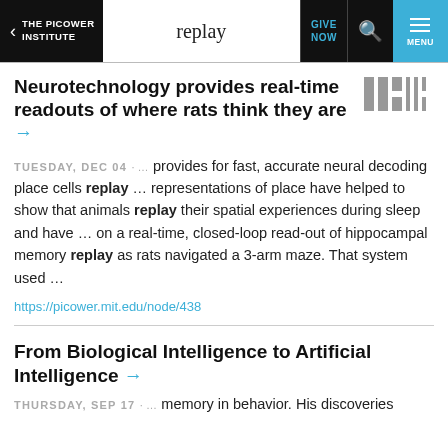THE PICOWER INSTITUTE | replay | GIVE NOW | MENU
Neurotechnology provides real-time readouts of where rats think they are →
TUESDAY, DEC 04 · … provides for fast, accurate neural decoding place cells replay … representations of place have helped to show that animals replay their spatial experiences during sleep and have … on a real-time, closed-loop read-out of hippocampal memory replay as rats navigated a 3-arm maze. That system used …
https://picower.mit.edu/node/438
From Biological Intelligence to Artificial Intelligence →
THURSDAY, SEP 17 · … memory in behavior. His discoveries